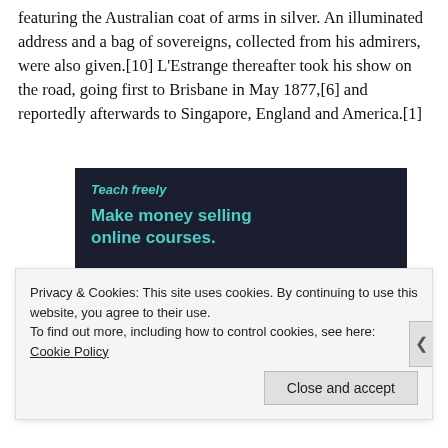featuring the Australian coat of arms in silver. An illuminated address and a bag of sovereigns, collected from his admirers, were also given.[10] L'Estrange thereafter took his show on the road, going first to Brisbane in May 1877,[6] and reportedly afterwards to Singapore, England and America.[1]
[Figure (screenshot): Advertisement for Sensei plugin: dark navy background with teal text reading 'Make money selling online courses.' with Sensei logo and 'Powered by WordPress.com' branding.]
Privacy & Cookies: This site uses cookies. By continuing to use this website, you agree to their use. To find out more, including how to control cookies, see here: Cookie Policy
Close and accept